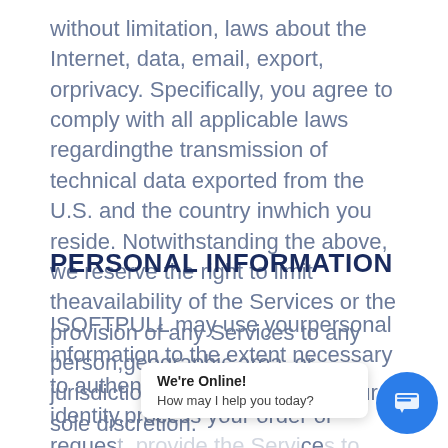without limitation, laws about the Internet, data, email, export, orprivacy. Specifically, you agree to comply with all applicable laws regardingthe transmission of technical data exported from the U.S. and the country inwhich you reside. Notwithstanding the above, we reserve the right to limit theavailability of the Services or the provision of any Services to any person,geographic area, or jurisdiction, at any time and in our sole discretion.
PERSONAL INFORMATION
ISOFTPULL may use yourpersonal information to the extent necessary to authenticate your identity,process your order or request, provide the Services to you, as well asfor other internal business maintenance, and such otherbusiness uses in